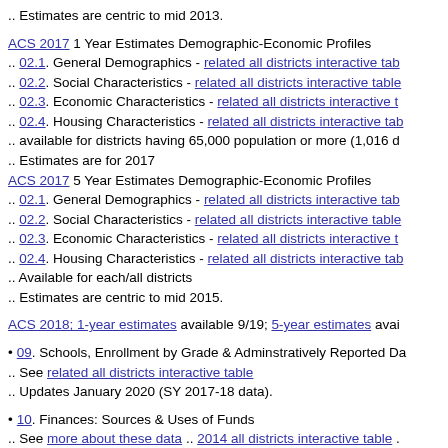.. Estimates are centric to mid 2013.
ACS 2017 1 Year Estimates Demographic-Economic Profiles
.. 02.1. General Demographics - related all districts interactive tab
.. 02.2. Social Characteristics - related all districts interactive table
.. 02.3. Economic Characteristics - related all districts interactive t
.. 02.4. Housing Characteristics - related all districts interactive tab
.. available for districts having 65,000 population or more (1,016 d
.. Estimates are for 2017
ACS 2017 5 Year Estimates Demographic-Economic Profiles
.. 02.1. General Demographics - related all districts interactive tab
.. 02.2. Social Characteristics - related all districts interactive table
.. 02.3. Economic Characteristics - related all districts interactive t
.. 02.4. Housing Characteristics - related all districts interactive tab
.. Available for each/all districts
.. Estimates are centric to mid 2015.
ACS 2018; 1-year estimates available 9/19; 5-year estimates avai
• 09. Schools, Enrollment by Grade & Adminstratively Reported Da
.. See related all districts interactive table
.. Updates January 2020 (SY 2017-18 data).
• 10. Finances: Sources & Uses of Funds
.. See more about these data .. 2014 all districts interactive table .
.. Updates May 2020 (FY 2018 data).